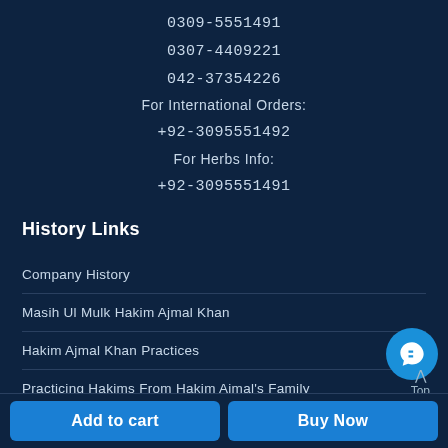0309-5551491
0307-4409221
042-37354226
For International Orders:
+92-3095551492
For Herbs Info:
+92-3095551491
History Links
Company History
Masih Ul Mulk Hakim Ajmal Khan
Hakim Ajmal Khan Practices
Practicing Hakims From Hakim Ajmal's Family
Hall Of Fame – Sharif Family
Add to cart | Buy Now